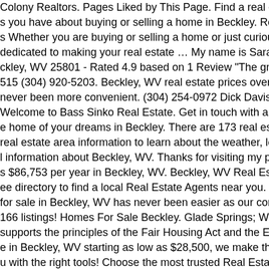Colony Realtors. Pages Liked by This Page. Find a real estate agent in 2
s you have about buying or selling a home in Beckley. Real Estate Agent
s Whether you are buying or selling a home or just curious about the loca
dedicated to making your real estate … My name is Sarah Birchfield. W
ckley, WV 25801 - Rated 4.9 based on 1 Review "The greatest Realty in
515 (304) 920-5203. Beckley, WV real estate prices overview Searching
never been more convenient. (304) 254-0972 Dick Davis - Coldwell Bank
Welcome to Bass Sinko Real Estate. Get in touch with a Beckley real es
e home of your dreams in Beckley. There are 173 real estate listings fou
real estate area information to learn about the weather, local school distr
l information about Beckley, WV. Thanks for visiting my page. The estima
s $86,753 per year in Beckley, WV. Beckley, WV Real Estate News Explo
ee directory to find a local Real Estate Agents near you. Real Estate Exp
for sale in Beckley, WV has never been easier as our comprehensive dir
166 listings! Homes For Sale Beckley. Glade Springs; Wonderland of Tre
supports the principles of the Fair Housing Act and the Equal Opportunity
e in Beckley, WV starting as low as $28,500, we make the search for the
u with the right tools! Choose the most trusted Real Estate Agents in Be